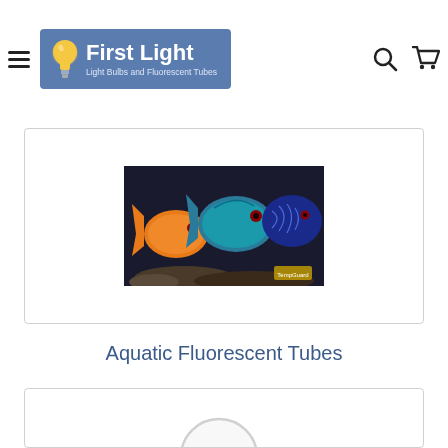First Light — Light Bulbs and Fluorescent Tubes navigation header with hamburger menu, search and cart icons
[Figure (photo): Three colorful discus fish in an aquarium — orange, teal, and blue patterned fish against a dark background]
Aquatic Fluorescent Tubes
[Figure (photo): Product card partially visible — shows a magnifier/search circle graphic at the bottom of the page]